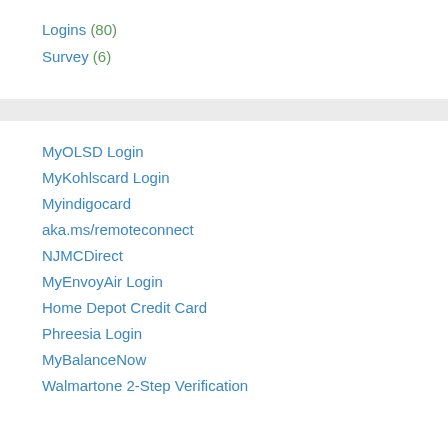Logins (80)
Survey (6)
MyOLSD Login
MyKohlscard Login
Myindigocard
aka.ms/remoteconnect
NJMCDirect
MyEnvoyAir Login
Home Depot Credit Card
Phreesia Login
MyBalanceNow
Walmartone 2-Step Verification